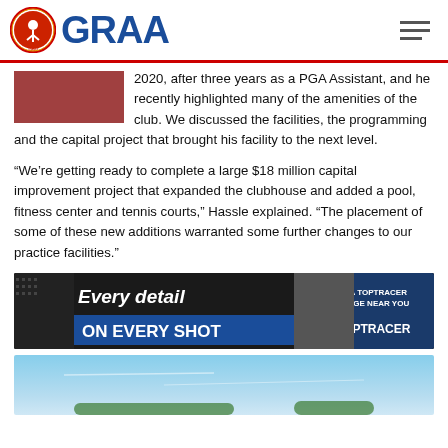GRAA
2020, after three years as a PGA Assistant, and he recently highlighted many of the amenities of the club. We discussed the facilities, the programming and the capital project that brought his facility to the next level.
“We’re getting ready to complete a large $18 million capital improvement project that expanded the clubhouse and added a pool, fitness center and tennis courts,” Hassle explained. “The placement of some of these new additions warranted some further changes to our practice facilities.”
[Figure (photo): Toptracer advertisement banner: 'Every detail ON EVERY SHOT' with a woman and Toptracer logo, 'FIND A TOPTRACER RANGE NEAR YOU']
[Figure (photo): Bottom partial image showing blue sky and landscape]